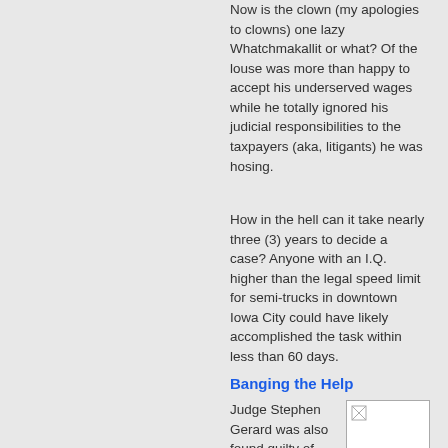Now is the clown (my apologies to clowns) one lazy Whatchmakallit or what? Of the louse was more than happy to accept his underserved wages while he totally ignored his judicial responsibilities to the taxpayers (aka, litigants) he was hosing.
How in the hell can it take nearly three (3) years to decide a case? Anyone with an I.Q. higher than the legal speed limit for semi-trucks in downtown Iowa City could have likely accomplished the task within less than 60 days.
Banging the Help
Judge Stephen Gerard was also found guilty of
[Figure (photo): A photo placeholder with broken image icon in top-left corner, white background with light border]